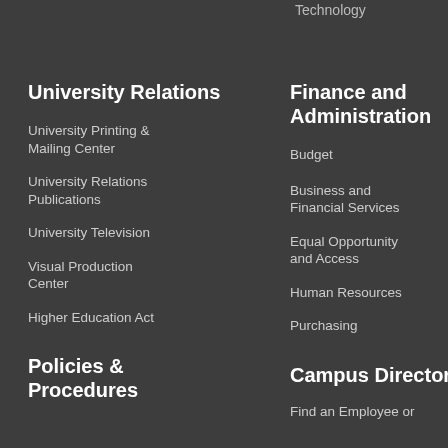Technology
University Relations
University Printing & Mailing Center
University Relations Publications
University Television
Visual Production Center
Higher Education Act
Policies & Procedures
Finance and Administration
Budget
Business and Financial Services
Equal Opportunity and Access
Human Resources
Purchasing
Campus Directory
Find an Employee or